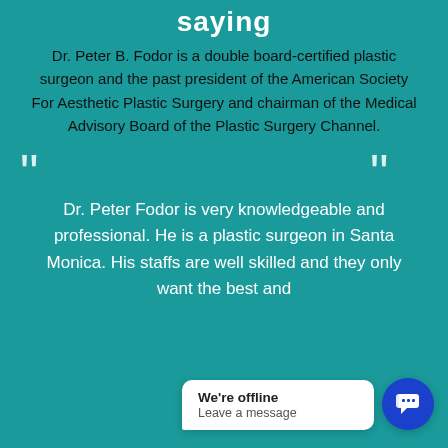saying
Dr. Peter B. Fodor is a double board-certified plastic surgeon and the past president of the American Society For Aesthetic Plastic Surgery and chairman of the Medical Advisory Board of the Plastic Surgery Channel.
[Figure (illustration): Decorative quotation mark symbols on left and right sides]
Dr. Peter Fodor is very knowledgeable and professional. He is a plastic surgeon in Santa Monica. His staffs are well skilled and they only want the best and
[Figure (screenshot): Chat widget overlay showing 'We're offline' and 'Leave a message' with a blue chat icon button]